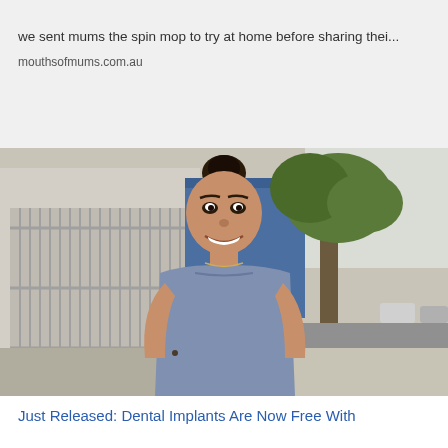we sent mums the spin mop to try at home before sharing thei...
mouthsofmums.com.au
[Figure (photo): A woman with dark hair in a bun, wearing a blue-grey fitted short-sleeve dress, smiling outdoors on a city street with a tree, fence, and buildings in the background.]
Just Released: Dental Implants Are Now Free With